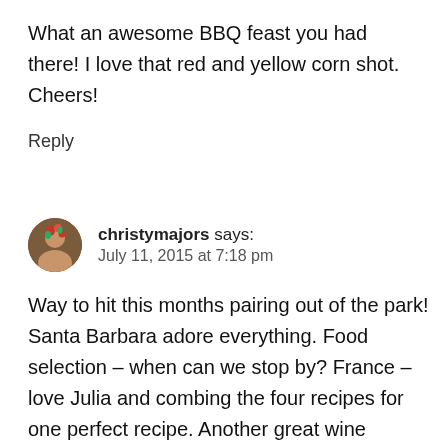What an awesome BBQ feast you had there! I love that red and yellow corn shot. Cheers!
Reply
[Figure (photo): Small circular avatar of christymajors showing a person with flowers]
christymajors says:
July 11, 2015 at 7:18 pm
Way to hit this months pairing out of the park! Santa Barbara adore everything. Food selection – when can we stop by? France – love Julia and combing the four recipes for one perfect recipe. Another great wine selection. And Dudamel? Well,